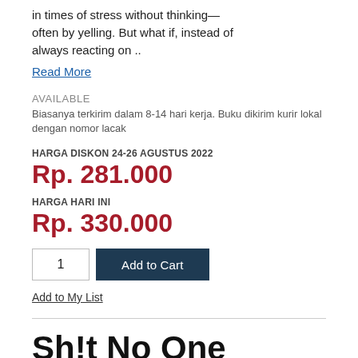in times of stress without thinking— often by yelling. But what if, instead of always reacting on ..
Read More
AVAILABLE
Biasanya terkirim dalam 8-14 hari kerja. Buku dikirim kurir lokal dengan nomor lacak
HARGA DISKON 24-26 AGUSTUS 2022
Rp. 281.000
HARGA HARI INI
Rp. 330.000
1
Add to Cart
Add to My List
Sh!t No One Tells You: A